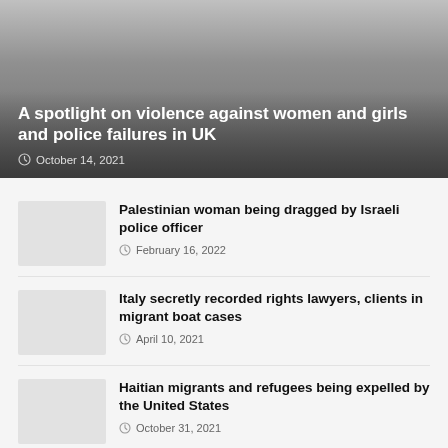A spotlight on violence against women and girls and police failures in UK
October 14, 2021
Palestinian woman being dragged by Israeli police officer
February 16, 2022
Italy secretly recorded rights lawyers, clients in migrant boat cases
April 10, 2021
Haitian migrants and refugees being expelled by the United States
October 31, 2021